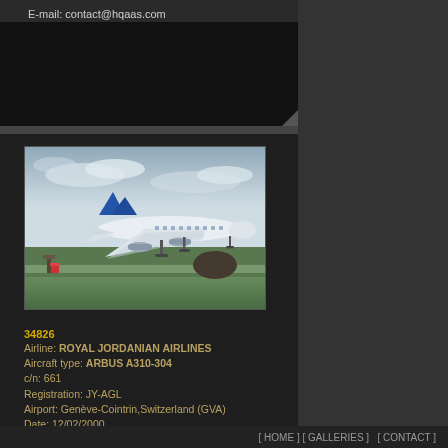E-mail: contact@hqaas.com
[Figure (photo): Royal Jordanian Airlines Airbus A310-304 registration JY-AGL on approach to land at Genève-Cointrin airport, Switzerland. Aircraft is white with blue tail, photographed over green grass with trees in background.]
34826
Airline: ROYAL JORDANIAN AIRLINES
Aircraft type: ARBUS A310-304
c/n: 661
Registration: JY-AGL
Airport: Genève-Cointrin,Switzerland (GVA)
Date: 12/02/2000
Remarks:
Photographer: Marco DOTTI
[ HOME ] [ GALLERIES ]    [ CONTACT ]